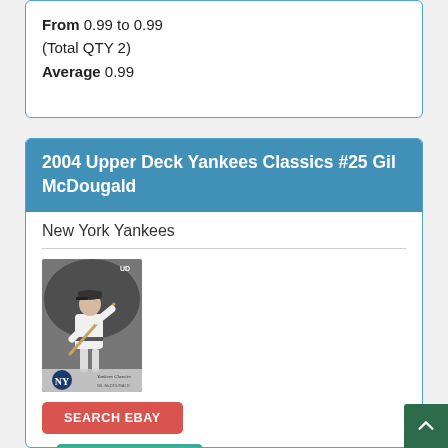From 0.99 to 0.99 (Total QTY 2) Average 0.99
2004 Upper Deck Yankees Classics #25 Gil McDougald
New York Yankees
[Figure (photo): Baseball trading card image of Gil McDougald in black and white, Yankees Classics series]
SEARCH EBAY
MARKETPLACE